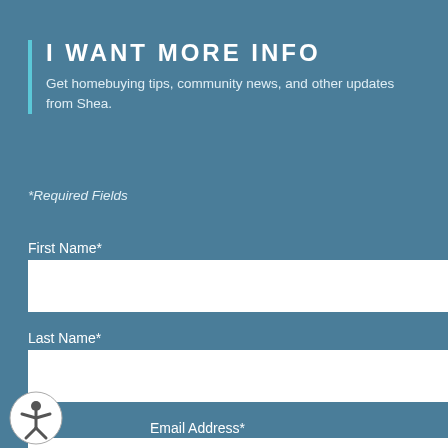I WANT MORE INFO
Get homebuying tips, community news, and other updates from Shea.
*Required Fields
First Name*
Last Name*
Email Address*
[Figure (illustration): Accessibility icon — person with arms and legs extended in a circle]